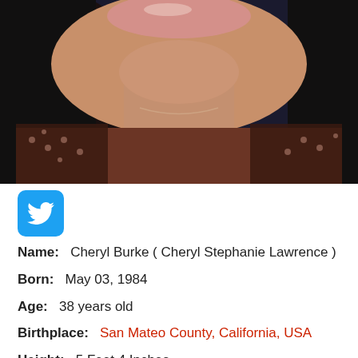[Figure (photo): Close-up photo of a woman with dark hair, glossy lips, and a lace/patterned top, photographed from chin to upper chest area against a dark background]
[Figure (logo): Twitter bird logo icon in white on a blue rounded-square background]
Name:   Cheryl Burke ( Cheryl Stephanie Lawrence )
Born:   May 03, 1984
Age:   38 years old
Birthplace:   San Mateo County, California, USA
Height:   5 Feet 4 Inches
Something else not totally visible